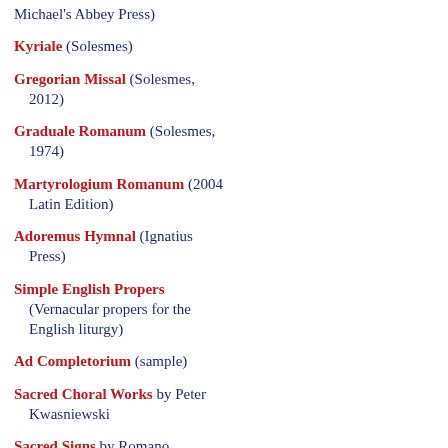Michael's Abbey Press)
Kyriale (Solesmes)
Gregorian Missal (Solesmes, 2012)
Graduale Romanum (Solesmes, 1974)
Martyrologium Romanum (2004 Latin Edition)
Adoremus Hymnal (Ignatius Press)
Simple English Propers (Vernacular propers for the English liturgy)
Ad Completorium (sample)
Sacred Choral Works by Peter Kwasniewski
Sacred Signs by Romano Guardini
A Missal for Young Catholics by